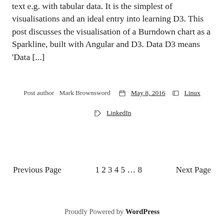text e.g. with tabular data. It is the simplest of visualisations and an ideal entry into learning D3. This post discusses the visualisation of a Burndown chart as a Sparkline, built with Angular and D3. Data D3 means 'Data [...]
Post author Mark Brownsword  Posted May 8, 2016  Categories Linux  Tags LinkedIn
Previous Page  1 2 3 4 5 … 8  Next Page
Proudly Powered by WordPress